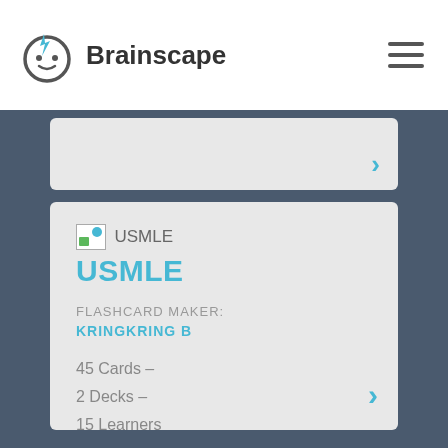Brainscape
[Figure (screenshot): Brainscape app screenshot showing a USMLE flashcard deck listing with logo, title, flashcard maker KRINGKRING B, 45 Cards, 2 Decks, 15 Learners, Sample Decks: Samplex, MICROBIOLOGY]
USMLE
FLASHCARD MAKER:
KRINGKRING B
45 Cards –
2 Decks –
15 Learners
Sample Decks:
Samplex,
MICROBIOLOGY,